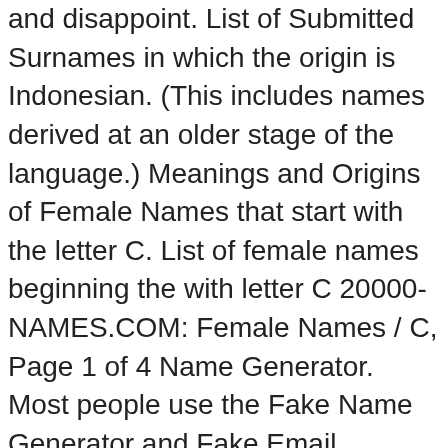and disappoint. List of Submitted Surnames in which the origin is Indonesian. (This includes names derived at an older stage of the language.) Meanings and Origins of Female Names that start with the letter C. List of female names beginning the with letter C 20000-NAMES.COM: Female Names / C, Page 1 of 4 Name Generator. Most people use the Fake Name Generator and Fake Email Generator for successful registration on websites and spam prevention for the real personal address. Browse Laotian baby names and meanings. Both boys and girls receive birth order name from a small typical group of names for … Traditional Korean family name typically only 1 syllable. I gathered famous actresses, singers, models and winners of beauty contests, which have Indonesian roots in my rating of the most beautiful Indonesian women. Indonesia was at one time a Dutch colony and during that time adopted characters from the Latin alphabet. INDONESIA: INDONESIAN NAMES Male & Female First names, last names, and their pronunciation INDONESIAN BABY NAMES A